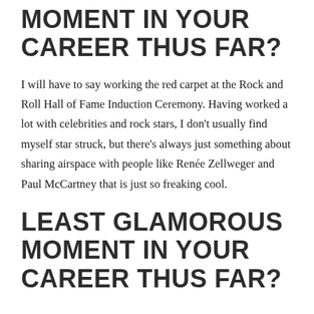MOMENT IN YOUR CAREER THUS FAR?
I will have to say working the red carpet at the Rock and Roll Hall of Fame Induction Ceremony. Having worked a lot with celebrities and rock stars, I don't usually find myself star struck, but there's always just something about sharing airspace with people like Renée Zellweger and Paul McCartney that is just so freaking cool.
LEAST GLAMOROUS MOMENT IN YOUR CAREER THUS FAR?